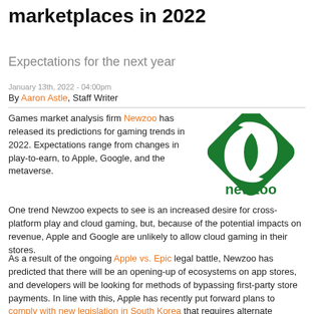marketplaces in 2022
Expectations for the next year
January 13th, 2022 - 04:00pm
By Aaron Astle, Staff Writer
Games market analysis firm Newzoo has released its predictions for gaming trends in 2022. Expectations range from changes in play-to-earn, to Apple, Google, and the metaverse.
[Figure (logo): Newzoo logo — green diamond with curved ribbon shapes and 'newzoo' wordmark in green below]
One trend Newzoo expects to see is an increased desire for cross-platform play and cloud gaming, but, because of the potential impacts on revenue, Apple and Google are unlikely to allow cloud gaming in their stores.
As a result of the ongoing Apple vs. Epic legal battle, Newzoo has predicted that there will be an opening-up of ecosystems on app stores, and developers will be looking for methods of bypassing first-party store payments. In line with this, Apple has recently put forward plans to comply with new legislation in South Korea that requires alternate payment systems on app marketplaces.